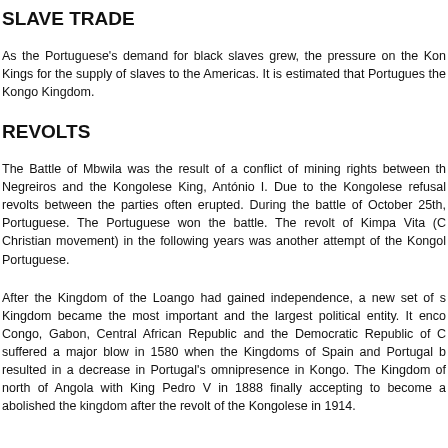SLAVE TRADE
As the Portuguese's demand for black slaves grew, the pressure on the Kongo Kings for the supply of slaves to the Americas. It is estimated that Portuguese the Kongo Kingdom.
REVOLTS
The Battle of Mbwila was the result of a conflict of mining rights between the Negreiros and the Kongolese King, António I. Due to the Kongolese refusal revolts between the parties often erupted. During the battle of October 25th, Portuguese. The Portuguese won the battle. The revolt of Kimpa Vita (C Christian movement) in the following years was another attempt of the Kongo Portuguese.
After the Kingdom of the Loango had gained independence, a new set of su Kingdom became the most important and the largest political entity. It encom Congo, Gabon, Central African Republic and the Democratic Republic of C suffered a major blow in 1580 when the Kingdoms of Spain and Portugal b resulted in a decrease in Portugal's omnipresence in Kongo. The Kingdom of north of Angola with King Pedro V in 1888 finally accepting to become a abolished the kingdom after the revolt of the Kongolese in 1914.